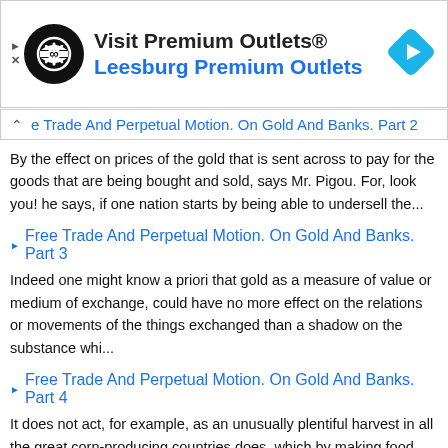[Figure (other): Advertisement banner for Visit Premium Outlets® / Leesburg Premium Outlets with logo and navigation icon]
e Trade And Perpetual Motion. On Gold And Banks. Part 2
By the effect on prices of the gold that is sent across to pay for the goods that are being bought and sold, says Mr. Pigou. For, look you! he says, if one nation starts by being able to undersell the...
Free Trade And Perpetual Motion. On Gold And Banks. Part 3
Indeed one might know a priori that gold as a measure of value or medium of exchange, could have no more effect on the relations or movements of the things exchanged than a shadow on the substance whi...
Free Trade And Perpetual Motion. On Gold And Banks. Part 4
It does not act, for example, as an unusually plentiful harvest in all the great corn-producing countries does, which by making food cheaper for the great masses of a population leaves them more to sp...
Free Trade And Perpetual Motion. On Gold And Banks. Part 5